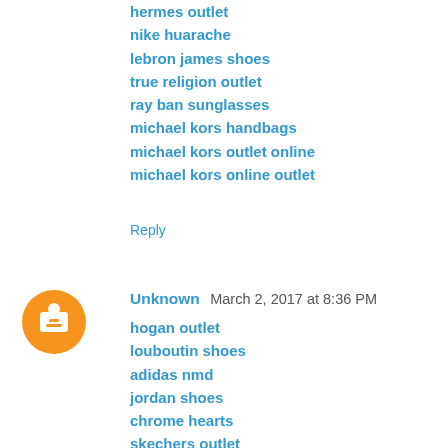hermes outlet
nike huarache
lebron james shoes
true religion outlet
ray ban sunglasses
michael kors handbags
michael kors outlet online
michael kors online outlet
Reply
Unknown   March 2, 2017 at 8:36 PM
hogan outlet
louboutin shoes
adidas nmd
jordan shoes
chrome hearts
skechers outlet
lacoste outlet
longchamp bags
air max 2017
michael kors handbags